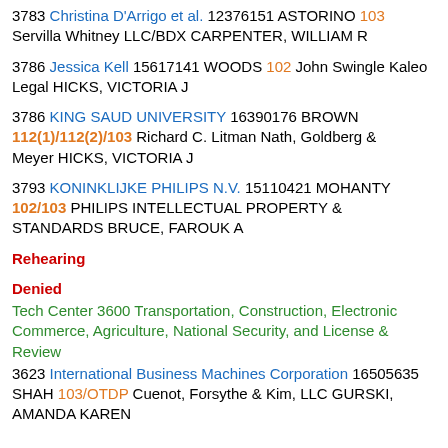3783 Christina D'Arrigo et al. 12376151 ASTORINO 103 Servilla Whitney LLC/BDX CARPENTER, WILLIAM R
3786 Jessica Kell 15617141 WOODS 102 John Swingle Kaleo Legal HICKS, VICTORIA J
3786 KING SAUD UNIVERSITY 16390176 BROWN 112(1)/112(2)/103 Richard C. Litman Nath, Goldberg & Meyer HICKS, VICTORIA J
3793 KONINKLIJKE PHILIPS N.V. 15110421 MOHANTY 102/103 PHILIPS INTELLECTUAL PROPERTY & STANDARDS BRUCE, FAROUK A
Rehearing
Denied
Tech Center 3600 Transportation, Construction, Electronic Commerce, Agriculture, National Security, and License & Review
3623 International Business Machines Corporation 16505635 SHAH 103/OTDP Cuenot, Forsythe & Kim, LLC GURSKI, AMANDA KAREN